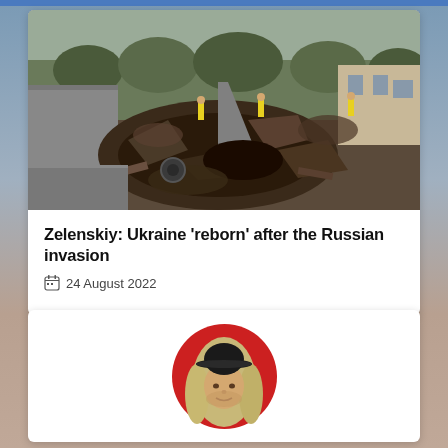[Figure (photo): War damage photo showing a large crater in a road with debris and rubble, a tilted metal pole or missile fragment, trees and yellow-vested workers in background, black and white tones]
Zelenskiy: Ukraine ‘reborn’ after the Russian invasion
24 August 2022
[Figure (photo): Circular avatar photo of a person with long blonde/gray hair wearing a black bowler hat, set against a red circular background]